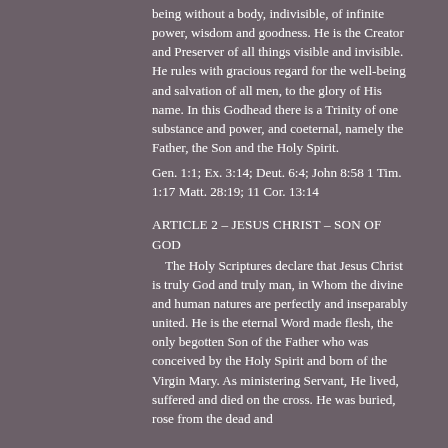being without a body, indivisible, of infinite power, wisdom and goodness. He is the Creator and Preserver of all things visible and invisible. He rules with gracious regard for the well-being and salvation of all men, to the glory of His name. In this Godhead there is a Trinity of one substance and power, and coeternal, namely the Father, the Son and the Holy Spirit.
Gen. 1:1; Ex. 3:14; Deut. 6:4; John 8:58 1 Tim. 1:17 Matt. 28:19; 11 Cor. 13:14
ARTICLE 2 – JESUS CHRIST – SON OF GOD
The Holy Scriptures declare that Jesus Christ is truly God and truly man, in Whom the divine and human natures are perfectly and inseparably united. He is the eternal Word made flesh, the only begotten Son of the Father who was conceived by the Holy Spirit and born of the Virgin Mary. As ministering Servant, He lived, suffered and died on the cross. He was buried, rose from the dead and